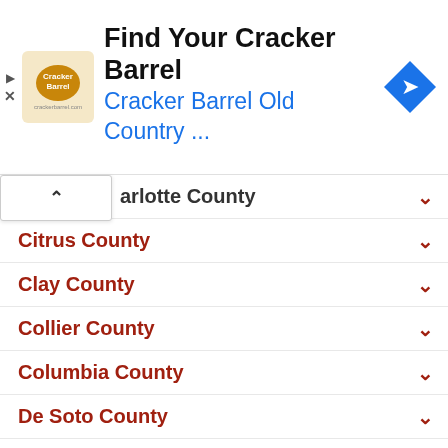[Figure (screenshot): Cracker Barrel advertisement banner with logo, text 'Find Your Cracker Barrel / Cracker Barrel Old Country ...', and a blue navigation icon on the right.]
arlotte County
Citrus County
Clay County
Collier County
Columbia County
De Soto County
Dixie County
Duval County
Escambia County
Flagler County